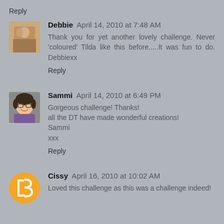Reply
Debbie  April 14, 2010 at 7:48 AM
Thank you for yet another lovely challenge. Never 'coloured' Tilda like this before.....It was fun to do. Debbiexx
Reply
Sammi  April 14, 2010 at 6:49 PM
Gorgeous challenge! Thanks!
all the DT have made wonderful creations!
Sammi
xxx
Reply
Cissy  April 16, 2010 at 10:02 AM
Loved this challenge as this was a challenge indeed!